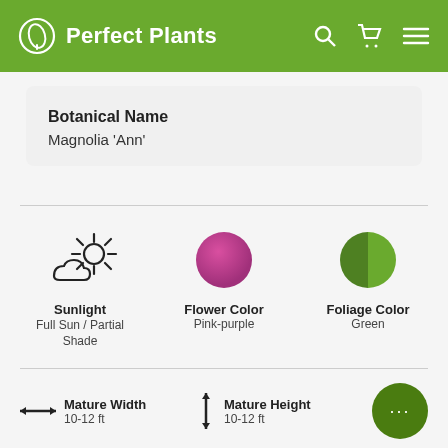Perfect Plants
Botanical Name
Magnolia 'Ann'
[Figure (infographic): Three icons: sun/cloud icon for Sunlight, pink-purple circle for Flower Color, two-tone green circle for Foliage Color. Labels: Sunlight / Full Sun / Partial Shade; Flower Color / Pink-purple; Foliage Color / Green.]
Sunlight
Full Sun / Partial Shade
Flower Color
Pink-purple
Foliage Color
Green
Mature Width
10-12 ft
Mature Height
10-12 ft